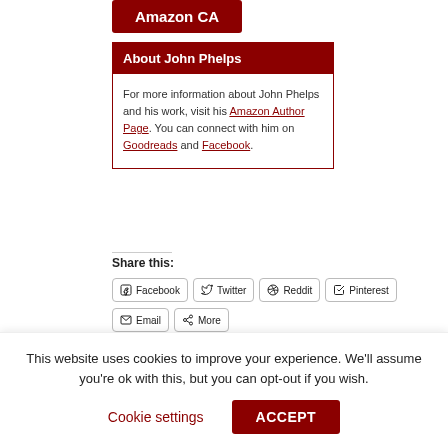Amazon CA
About John Phelps
For more information about John Phelps and his work, visit his Amazon Author Page. You can connect with him on Goodreads and Facebook.
Share this:
Facebook
Twitter
Reddit
Pinterest
Email
More
This website uses cookies to improve your experience. We'll assume you're ok with this, but you can opt-out if you wish.
Cookie settings
ACCEPT